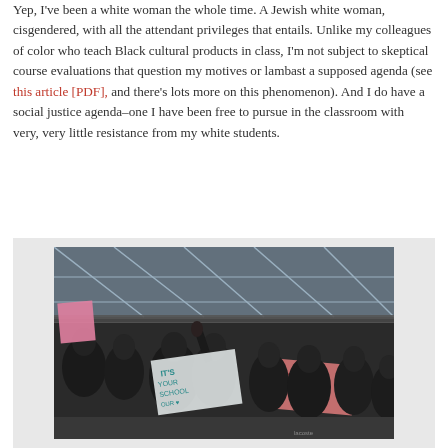Yep, I've been a white woman the whole time. A Jewish white woman, cisgendered, with all the attendant privileges that entails. Unlike my colleagues of color who teach Black cultural products in class, I'm not subject to skeptical course evaluations that question my motives or lambast a supposed agenda (see this article [PDF], and there's lots more on this phenomenon). And I do have a social justice agenda–one I have been free to pursue in the classroom with very, very little resistance from my white students.
[Figure (photo): Photograph of a protest or demonstration inside a building with a glass ceiling. A crowd of people is visible, some holding banners and signs with text including what appears to be social justice messaging. The image is taken from an elevated angle.]